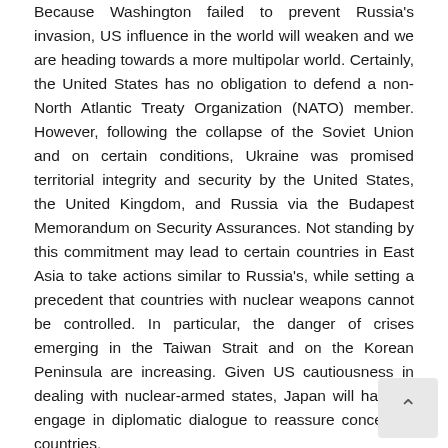Because Washington failed to prevent Russia's invasion, US influence in the world will weaken and we are heading towards a more multipolar world. Certainly, the United States has no obligation to defend a non-North Atlantic Treaty Organization (NATO) member. However, following the collapse of the Soviet Union and on certain conditions, Ukraine was promised territorial integrity and security by the United States, the United Kingdom, and Russia via the Budapest Memorandum on Security Assurances. Not standing by this commitment may lead to certain countries in East Asia to take actions similar to Russia's, while setting a precedent that countries with nuclear weapons cannot be controlled. In particular, the danger of crises emerging in the Taiwan Strait and on the Korean Peninsula are increasing. Given US cautiousness in dealing with nuclear-armed states, Japan will have to engage in diplomatic dialogue to reassure concerned countries.